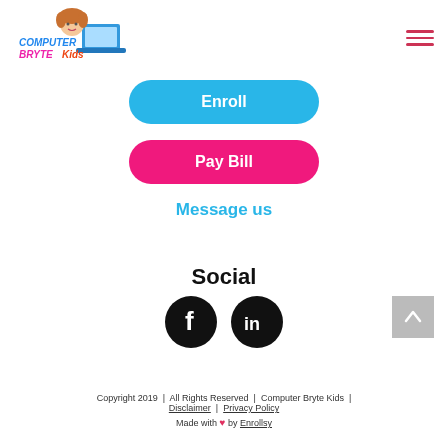[Figure (logo): Computer Bryte Kids logo with cartoon girl and laptop text graphic]
[Figure (illustration): Hamburger menu icon (three horizontal lines in pink/red)]
Enroll
Pay Bill
Message us
Social
[Figure (illustration): Facebook circular icon (black circle with white F)]
[Figure (illustration): LinkedIn circular icon (black circle with white in)]
[Figure (illustration): Back to top button (grey square with white upward arrow)]
Copyright 2019 | All Rights Reserved | Computer Bryte Kids | Disclaimer | Privacy Policy
Made with ♥ by Enrollsy